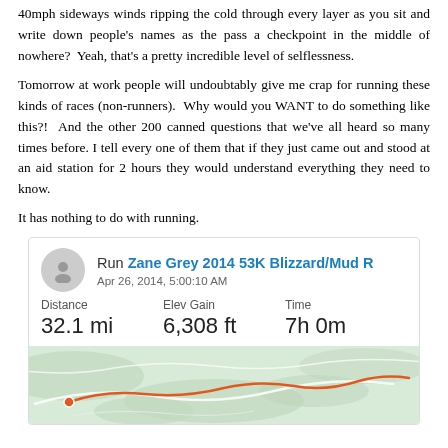40mph sideways winds ripping the cold through every layer as you sit and write down people's names as the pass a checkpoint in the middle of nowhere? Yeah, that's a pretty incredible level of selflessness.
Tomorrow at work people will undoubtably give me crap for running these kinds of races (non-runners). Why would you WANT to do something like this?! And the other 200 canned questions that we've all heard so many times before. I tell every one of them that if they just came out and stood at an aid station for 2 hours they would understand everything they need to know.
It has nothing to do with running.
[Figure (screenshot): Strava activity card showing Run Zane Grey 2014 53K Blizzard/Mud R, dated Apr 26, 2014, 5:00:10 AM, Distance 32.1 mi, Elev Gain 6,308 ft, Time 7h 0m, with a map below showing the route on a green topographic background.]